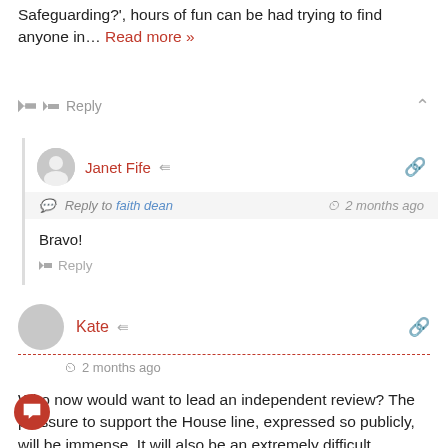Safeguarding?', hours of fun can be had trying to find anyone in… Read more »
Reply
Janet Fife — Reply to faith dean — 2 months ago

Bravo!

Reply
Kate — 2 months ago

Who now would want to lead an independent review? The pressure to support the House line, expressed so publicly, will be immense. It will also be an extremely difficult environment for the next Head of House to step into. Even if this is an accurate and complete narrative (and I am continuing my policy of not